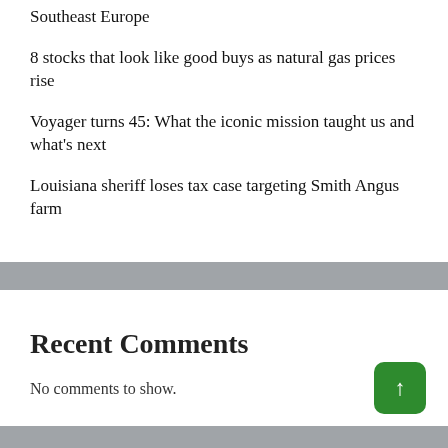Southeast Europe
8 stocks that look like good buys as natural gas prices rise
Voyager turns 45: What the iconic mission taught us and what's next
Louisiana sheriff loses tax case targeting Smith Angus farm
Recent Comments
No comments to show.